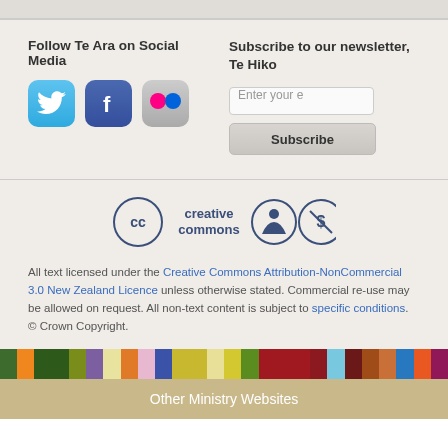Follow Te Ara on Social Media
[Figure (logo): Twitter, Facebook, and Flickr social media icons]
Subscribe to our newsletter, Te Hiko
[Figure (other): Email input field with placeholder 'Enter your e' and Subscribe button]
[Figure (logo): Creative Commons Attribution-NonCommercial logo]
All text licensed under the Creative Commons Attribution-NonCommercial 3.0 New Zealand Licence unless otherwise stated. Commercial re-use may be allowed on request. All non-text content is subject to specific conditions. © Crown Copyright.
[Figure (infographic): Colorful horizontal bar with segments of various colors]
Other Ministry Websites